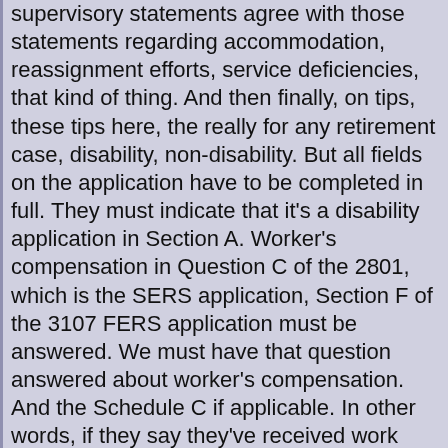supervisory statements agree with those statements regarding accommodation, reassignment efforts, service deficiencies, that kind of thing. And then finally, on tips, these tips here, the really for any retirement case, disability, non-disability. But all fields on the application have to be completed in full. They must indicate that it's a disability application in Section A. Worker's compensation in Question C of the 2801, which is the SERS application, Section F of the 3107 FERS application must be answered. We must have that question answered about worker's compensation. And the Schedule C if applicable. In other words, if they say they've received work compensation, we need to see the Schedule C. The survivor election in Section F and D, respectively, must b indicated, regardless of the marital status. In other words, the fact that someone is not married does not mean that they don't have to make a survivor election. They still need to make that survivor election of a life-only ann